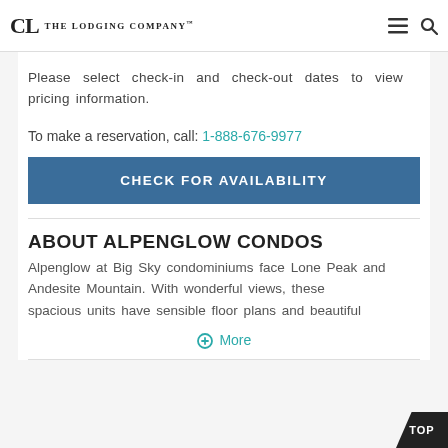The Lodging Company
Please select check-in and check-out dates to view pricing information.
To make a reservation, call: 1-888-676-9977
CHECK FOR AVAILABILITY
ABOUT ALPENGLOW CONDOS
Alpenglow at Big Sky condominiums face Lone Peak and Andesite Mountain. With wonderful views, these spacious units have sensible floor plans and beautiful
More